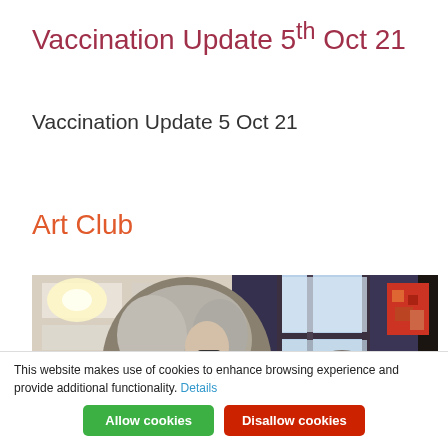Vaccination Update 5th Oct 21
Vaccination Update 5 Oct 21
Art Club
[Figure (photo): Indoor scene showing people sitting around a table doing art activities. A woman with short grey hair is visible in the foreground. There is a window with dark curtains in the background and a colourful painting on the wall to the right.]
This website makes use of cookies to enhance browsing experience and provide additional functionality. Details
Allow cookies
Disallow cookies